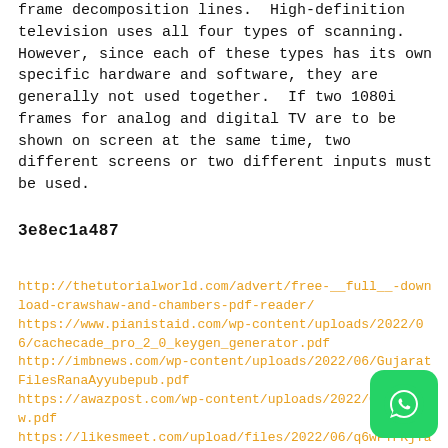frame decomposition lines. High-definition television uses all four types of scanning. However, since each of these types has its own specific hardware and software, they are generally not used together. If two 1080i frames for analog and digital TV are to be shown on screen at the same time, two different screens or two different inputs must be used.
3e8ec1a487
http://thetutorialworld.com/advert/free-__full__-download-crawshaw-and-chambers-pdf-reader/ https://www.pianistaid.com/wp-content/uploads/2022/06/cachecade_pro_2_0_keygen_generator.pdf http://imbnews.com/wp-content/uploads/2022/06/GujaratFilesRanaAyyubepub.pdf https://awazpost.com/wp-content/uploads/2022/06/vitolw.pdf https://likesmeet.com/upload/files/2022/06/q6wFTFKjTaFakOMKwtLw_09_2dc3378b317d2e821a3b0b44dd4de731_file.pdf https://agendaprime.com/wp-content/uploads/2022/06/Morphyre_Professional_157ltorrentzip.pdf https://ipunku.com/advert/wall-street-raider-full-version-hot/